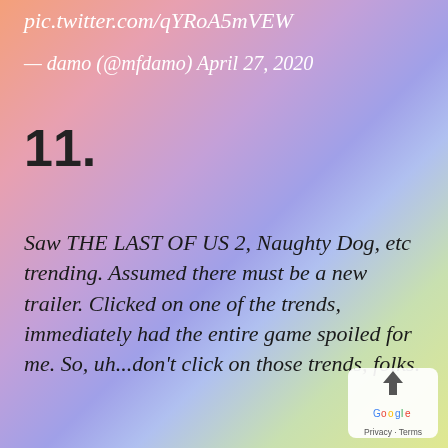pic.twitter.com/qYRoA5mVEW
— damo (@mfdamo) April 27, 2020
11.
Saw THE LAST OF US 2, Naughty Dog, etc trending. Assumed there must be a new trailer. Clicked on one of the trends, immediately had the entire game spoiled for me. So, uh...don't click on those trends, folks.
[Figure (logo): Google privacy/reCAPTCHA badge with upward arrow icon and Google logo in bottom right corner]